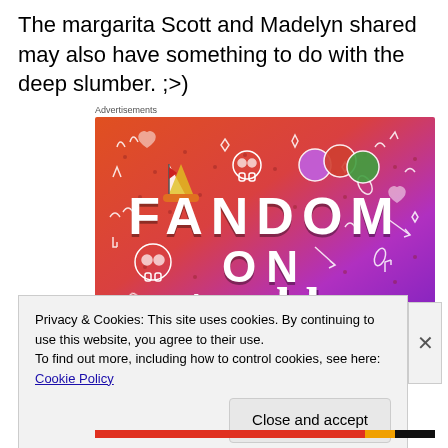The margarita Scott and Madelyn shared may also have something to do with the deep slumber. ;>)
Advertisements
[Figure (illustration): Colorful Tumblr advertisement with orange-to-purple gradient background, white doodles, and bold text reading 'FANDOM ON tumblr']
Privacy & Cookies: This site uses cookies. By continuing to use this website, you agree to their use.
To find out more, including how to control cookies, see here: Cookie Policy
Close and accept